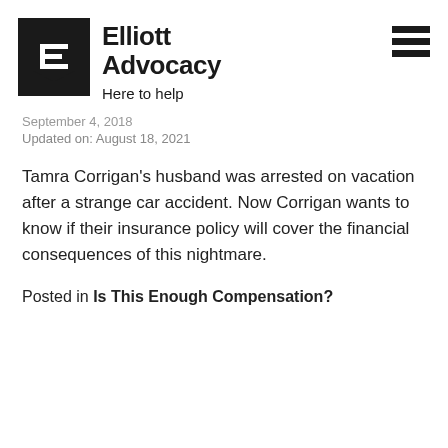[Figure (logo): Elliott Advocacy logo — black shield with stylized E letter, with brand name and tagline 'Here to help']
September 4, 2018
Updated on: August 18, 2021
Tamra Corrigan's husband was arrested on vacation after a strange car accident. Now Corrigan wants to know if their insurance policy will cover the financial consequences of this nightmare.
Posted in Is This Enough Compensation?